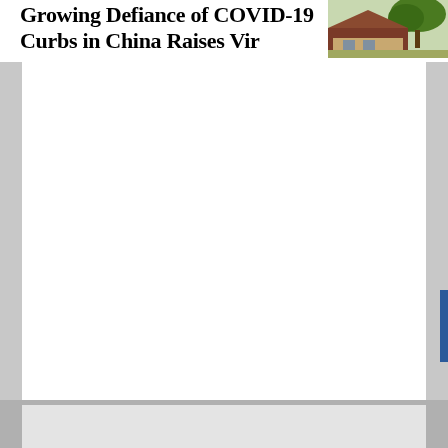Growing Defiance of COVID-19 Curbs in China Raises Virus f...
[Figure (photo): Photo of a house or building with trees visible, taken outdoors, partial crop at top right of page.]